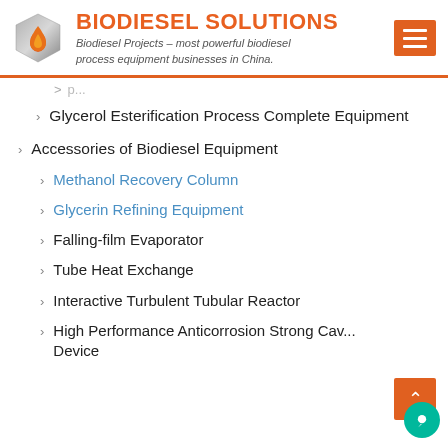[Figure (logo): Biodiesel Solutions logo with hexagonal shield and flame droplet, company name in orange bold text, italic tagline below]
Glycerol Esterification Process Complete Equipment
Accessories of Biodiesel Equipment
Methanol Recovery Column
Glycerin Refining Equipment
Falling-film Evaporator
Tube Heat Exchange
Interactive Turbulent Tubular Reactor
High Performance Anticorrosion Strong Cav... Device